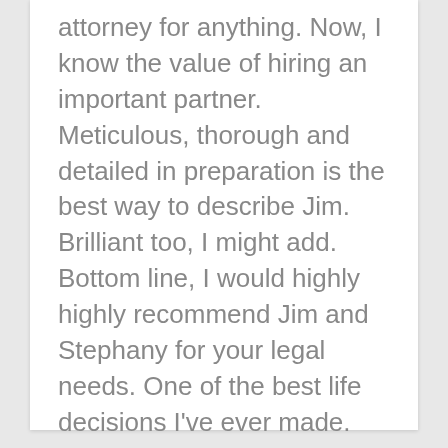attorney for anything. Now, I know the value of hiring an important partner. Meticulous, thorough and detailed in preparation is the best way to describe Jim. Brilliant too, I might add. Bottom line, I would highly highly recommend Jim and Stephany for your legal needs. One of the best life decisions I've ever made.
Howard S.